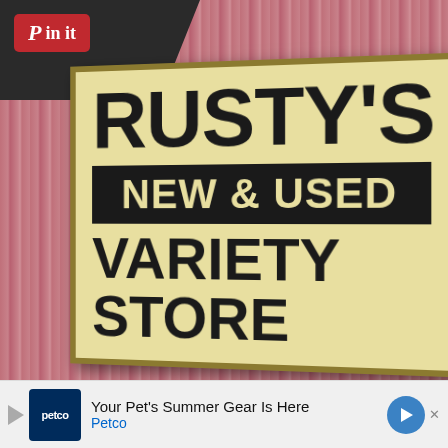[Figure (photo): Photograph of a large yellow/cream sign reading 'RUSTY'S NEW & USED VARIETY STORE' mounted on a pink corrugated metal wall. A dark shingled roof is visible in the top-left corner. A 'Pin it' Pinterest button overlay appears in the top-left of the image.]
Your Pet's Summer Gear Is Here - Petco (advertisement)